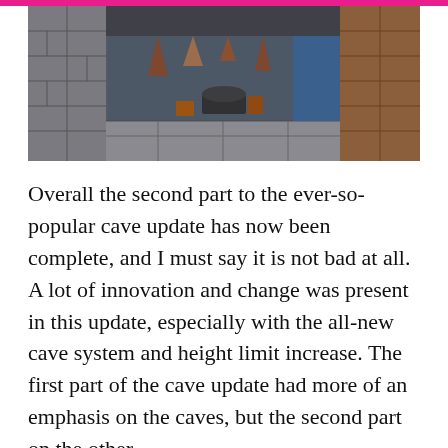[Figure (screenshot): Minecraft cave scene screenshot showing stone blocks, stalactites, cauldron, water, and brown/red blocks in a pixelated cave environment]
Overall the second part to the ever-so-popular cave update has now been complete, and I must say it is not bad at all. A lot of innovation and change was present in this update, especially with the all-new cave system and height limit increase. The first part of the cave update had more of an emphasis on the caves, but the second part on the other